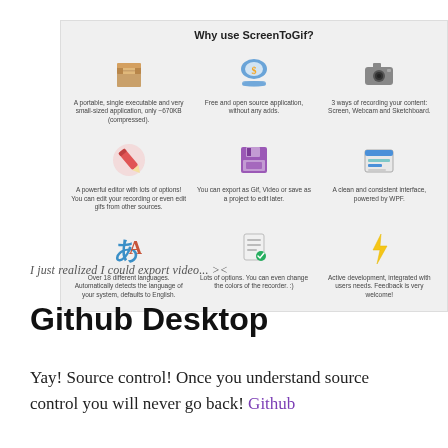[Figure (infographic): Why use ScreenToGif? A 3x3 grid of icons with short descriptions: (1) A portable, single executable and very small-sized application, only ~670KB (compressed). (2) Free and open source application, without any adds. (3) 3 ways of recording your content: Screen, Webcam and Sketchboard. (4) A powerful editor with lots of options! You can edit your recording or even edit gifs from other sources. (5) You can export as Gif, Video or save as a project to edit later. (6) A clean and consistent interface, powered by WPF. (7) Over 18 different languages. Automatically detects the language of your system, defaults to English. (8) Lots of options. You can even change the colors of the recorder. :) (9) Active development, integrated with users needs. Feedback is very welcome!]
I just realized I could export video... ><
Github Desktop
Yay! Source control! Once you understand source control you will never go back! Github